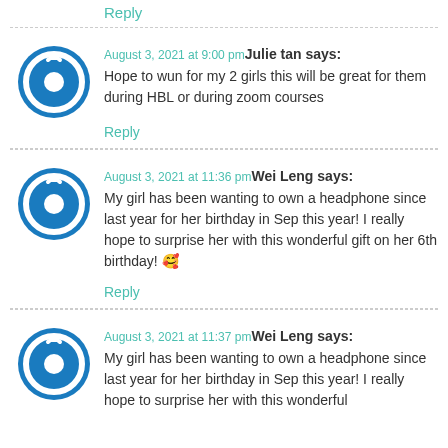Reply
August 3, 2021 at 9:00 pmJulie tan says:
Hope to wun for my 2 girls this will be great for them during HBL or during zoom courses
Reply
August 3, 2021 at 11:36 pmWei Leng says:
My girl has been wanting to own a headphone since last year for her birthday in Sep this year! I really hope to surprise her with this wonderful gift on her 6th birthday! 🥰
Reply
August 3, 2021 at 11:37 pmWei Leng says:
My girl has been wanting to own a headphone since last year for her birthday in Sep this year! I really hope to surprise her with this wonderful